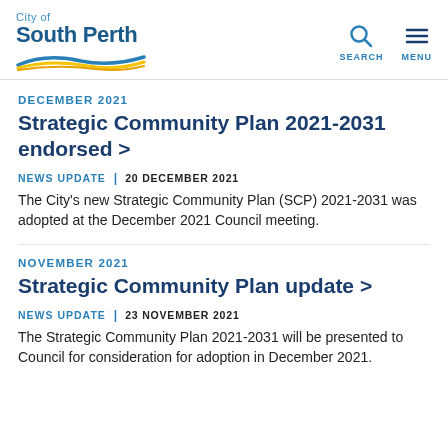City of South Perth — SEARCH MENU
DECEMBER 2021
Strategic Community Plan 2021-2031 endorsed >
NEWS UPDATE | 20 DECEMBER 2021
The City's new Strategic Community Plan (SCP) 2021-2031 was adopted at the December 2021 Council meeting.
NOVEMBER 2021
Strategic Community Plan update >
NEWS UPDATE | 23 NOVEMBER 2021
The Strategic Community Plan 2021-2031 will be presented to Council for consideration for adoption in December 2021.